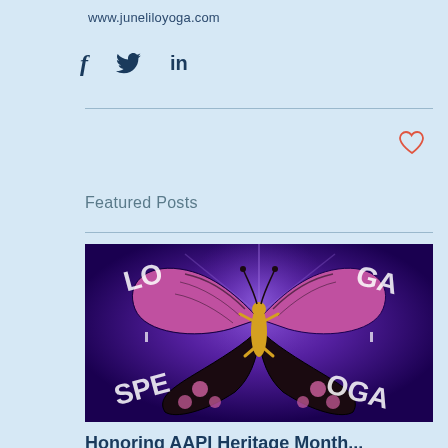www.juneliloyoga.com
[Figure (other): Social media share icons: Facebook (f), Twitter (bird), LinkedIn (in)]
[Figure (other): Heart/like icon outline in red/coral color]
Featured Posts
[Figure (photo): A colorful butterfly with pink, orange, and black wings on a purple glowing background. White text partially visible around edges reading 'LO', 'GA', 'SPE', 'OGA']
Honoring AAPI Heritage Month...